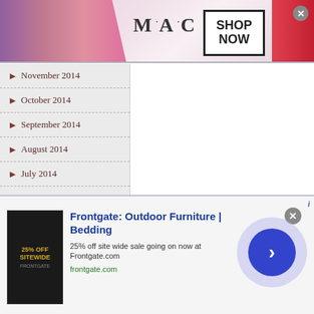[Figure (screenshot): MAC Cosmetics advertisement banner with lipsticks and 'SHOP NOW' button]
November 2014
October 2014
September 2014
August 2014
July 2014
June 2014
May 2014
April 2014
March 2014
[Figure (screenshot): Frontgate advertisement: Outdoor Furniture | Bedding - 25% off site wide sale going on now at Frontgate.com]